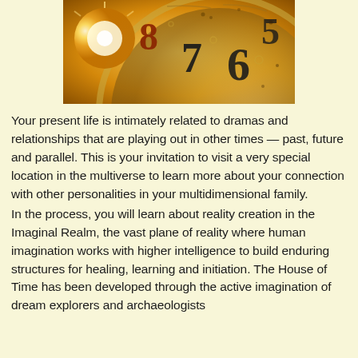[Figure (photo): Close-up photograph of a clock face with golden and warm tones, showing numerals 5, 6, 7, 8 prominently, with a bright light source (sun-like glow) on the left side, and decorative circular dial elements.]
Your present life is intimately related to dramas and relationships that are playing out in other times — past, future and parallel. This is your invitation to visit a very special location in the multiverse to learn more about your connection with other personalities in your multidimensional family.
In the process, you will learn about reality creation in the Imaginal Realm, the vast plane of reality where human imagination works with higher intelligence to build enduring structures for healing, learning and initiation. The House of Time has been developed through the active imagination of dream explorers and archaeologists